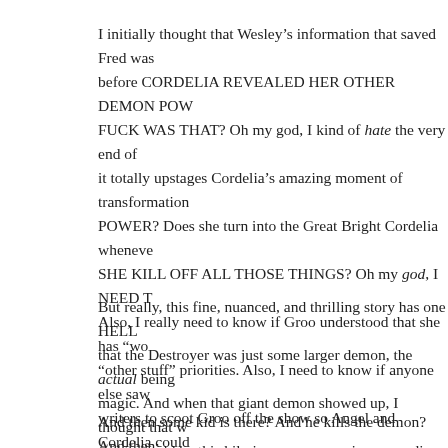I initially thought that Wesley’s information that saved Fred was before CORDELIA REVEALED HER OTHER DEMON POW FUCK WAS THAT? Oh my god, I kind of hate the very end of it totally upstages Cordelia’s amazing moment of transformation POWER? Does she turn into the Great Bright Cordelia wheneve SHE KILL OFF ALL THOSE THINGS? Oh my god, I NEED T Also, I really need to know if Groo understood that she has “wo “other stuff” priorities. Also, I need to know if anyone else saw writers to scoot Groo off the show so Angel and Cordelia could SHIPPING THEM YET, BUT I WOULD LIKE TO SEE THIS
But really, this fine, nuanced, and thrilling story has one HELL that the Destroyer was just some larger demon, the actual being magic. And when that giant demon showed up, I thought that w and it would be this hilarious, awesome, joyous ending to an oth
And then some kid is there? And he kills the demon? And then: